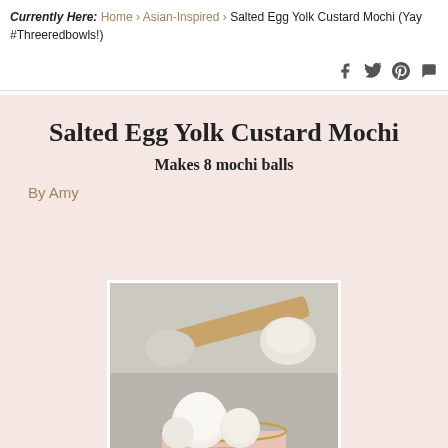Currently Here: Home > Asian-Inspired > Salted Egg Yolk Custard Mochi (Yay #Threeredbowls!)
Salted Egg Yolk Custard Mochi
Makes 8 mochi balls
By Amy
[Figure (photo): Photo of white mochi balls dusted with powder in a small pink and gold cup, with a wooden chopstick and more mochi in the background on a gray surface.]
[Figure (other): Print and Pinterest icon buttons at the bottom of the recipe card.]